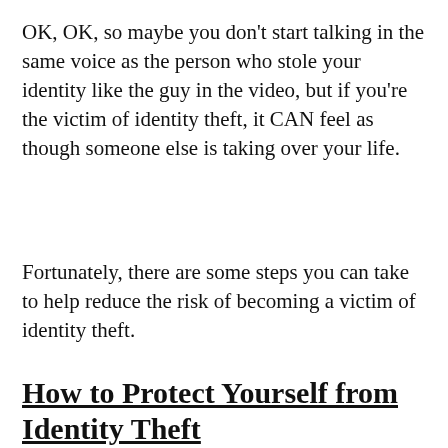OK, OK, so maybe you don't start talking in the same voice as the person who stole your identity like the guy in the video, but if you're the victim of identity theft, it CAN feel as though someone else is taking over your life.
Fortunately, there are some steps you can take to help reduce the risk of becoming a victim of identity theft.
How to Protect Yourself from Identity Theft